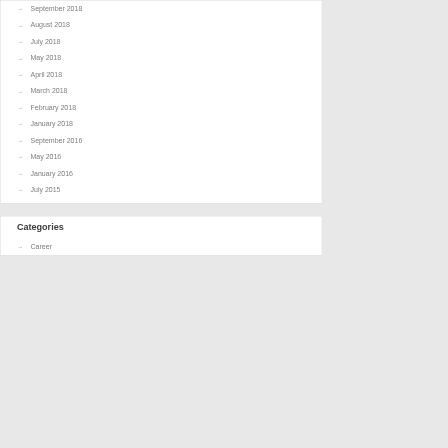September 2018
August 2018
July 2018
May 2018
April 2018
March 2018
February 2018
January 2018
September 2016
May 2016
January 2016
July 2015
Categories
Career